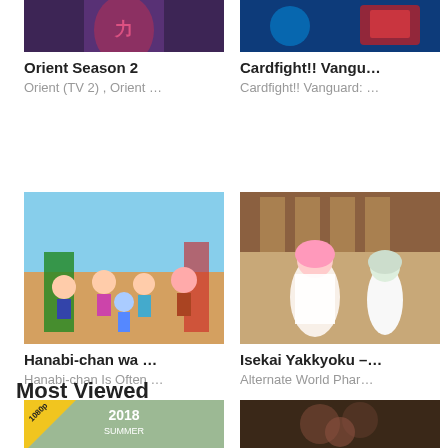[Figure (photo): Orient Season 2 anime thumbnail - purple/dark tones]
Orient Season 2
Orient (TV 2) , Orient …
[Figure (photo): Cardfight!! Vangu... anime thumbnail - blue/red tones]
Cardfight!! Vangu…
Cardfight!! Vanguard: …
[Figure (photo): Hanabi-chan wa ... anime thumbnail - colorful chibi characters]
Hanabi-chan wa …
Hanabi-chan Is Often …
[Figure (photo): Isekai Yakkyoku anime thumbnail - female characters in fantasy setting]
Isekai Yakkyoku –…
Alternate World Phar…
Most Viewed
[Figure (photo): Most Viewed item 1 - 2018 Summer anime with 1080p badge]
[Figure (photo): Most Viewed item 2 - dark fantasy anime]